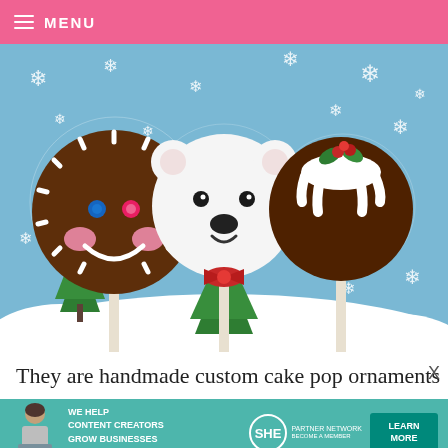MENU
[Figure (photo): Three Christmas-themed cake pops on sticks against a blue snowy background with snowflake decorations and green Christmas trees. Left: a round gingerbread man face cake pop in brown with white icing details, pink cheeks, blue and pink candy button eyes. Center: a white polar bear face cake pop with black bead eyes and nose, red bow at neck. Right: a dark brown round Christmas pudding cake pop with white icing drip on top, holly leaves and red berries decoration.]
They are handmade custom cake pop ornaments
[Figure (infographic): Advertisement banner for SHE Partner Network with teal/green background. Shows a woman with laptop on the left. Text reads: 'WE HELP CONTENT CREATORS GROW BUSINESSES THROUGH...' with SHE Partner Network logo and 'LEARN MORE' button on the right.]